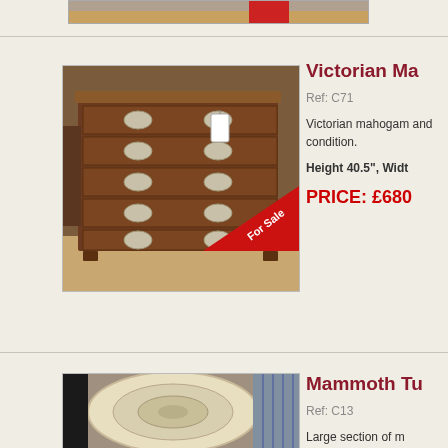[Figure (photo): Partial bottom of a previous listing image, cut off at top of page]
[Figure (photo): Victorian mahogany chest of drawers with oval brass handles and a red For Sale badge in the corner]
Victorian Ma
Ref: C71
Victorian mahogany and condition.
Height 40.5", Width
PRICE: £680
[Figure (photo): Large section of mammoth tusk, light coloured, showing cross-section detail]
Mammoth Tu
Ref: C13
Large section of m